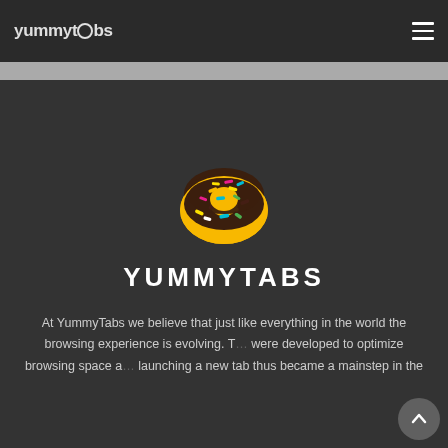yummytabs
[Figure (logo): YummyTabs donut logo — a golden donut with chocolate frosting and colorful sprinkles]
YUMMYTABS
At YummyTabs we believe that just like everything in the world the browsing experience is evolving. T... were developed to optimize browsing space a... launching a new tab thus became a mainstep in the